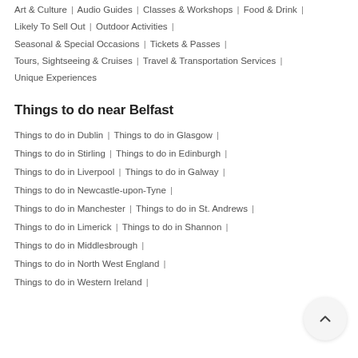Art & Culture | Audio Guides | Classes & Workshops | Food & Drink | Likely To Sell Out | Outdoor Activities | Seasonal & Special Occasions | Tickets & Passes | Tours, Sightseeing & Cruises | Travel & Transportation Services | Unique Experiences
Things to do near Belfast
Things to do in Dublin | Things to do in Glasgow |
Things to do in Stirling | Things to do in Edinburgh |
Things to do in Liverpool | Things to do in Galway |
Things to do in Newcastle-upon-Tyne |
Things to do in Manchester | Things to do in St. Andrews |
Things to do in Limerick | Things to do in Shannon |
Things to do in Middlesbrough |
Things to do in North West England |
Things to do in Western Ireland |